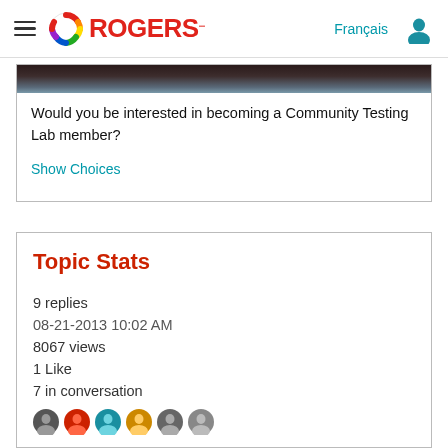ROGERS — Français [nav header]
[Figure (screenshot): Partial dark photo at top of a card, showing the bottom edge of an image]
Would you be interested in becoming a Community Testing Lab member?
Show Choices
Topic Stats
9 replies
08-21-2013 10:02 AM
8067 views
1 Like
7 in conversation
[Figure (illustration): Row of user avatar circles at the bottom]